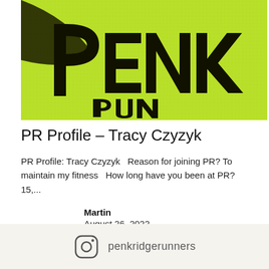[Figure (photo): Close-up photo of a neon yellow-green athletic running vest/singlet with black text reading 'PENK RUN' (Penkridge Runners club apparel). The fabric has a mesh texture visible in the image.]
PR Profile – Tracy Czyzyk
PR Profile: Tracy Czyzyk  Reason for joining PR? To maintain my fitness  How long have you been at PR? 15,...
Martin
August 26, 2022
penkridgerunners